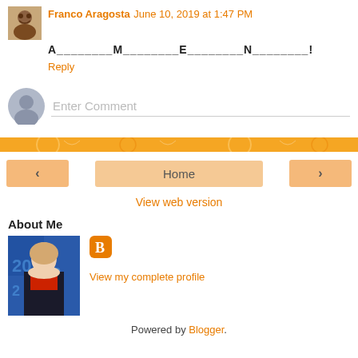Franco Aragosta  June 10, 2019 at 1:47 PM
A________M________E________N________!
Reply
Enter Comment
< Home >
View web version
About Me
[Figure (photo): Profile photo of a woman with blonde hair wearing a dark jacket with red shirt, against a blue background with '2012' text]
[Figure (logo): Blogger orange square logo with B]
View my complete profile
Powered by Blogger.